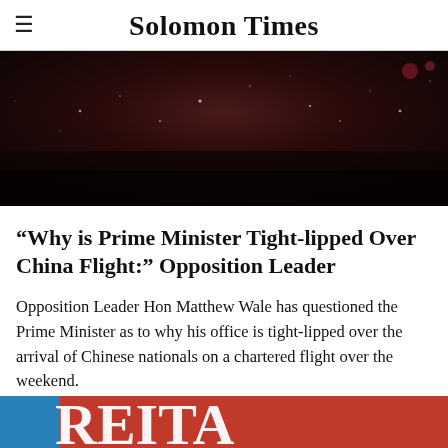Solomon Times
[Figure (photo): Dark close-up background image with scattered light specks on a dark reddish-brown surface]
“Why is Prime Minister Tight-lipped Over China Flight:” Opposition Leader
Opposition Leader Hon Matthew Wale has questioned the Prime Minister as to why his office is tight-lipped over the arrival of Chinese nationals on a chartered flight over the weekend.
[Figure (photo): Bottom strip showing partial advertisement or image with red, blue colors and large text letters visible]